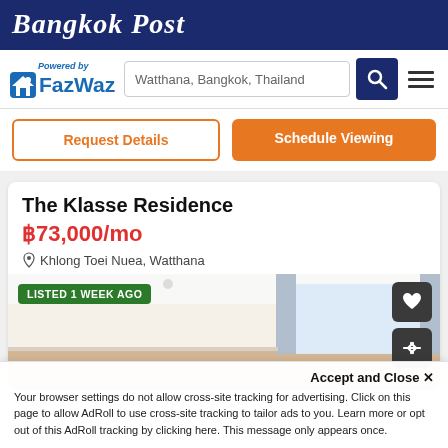Bangkok Post
[Figure (logo): FazWaz logo with house icon and Powered by text]
Watthana, Bangkok, Thailand
Request Details
Schedule Viewing
The Klasse Residence
฿73,000/mo
Khlong Toei Nuea, Watthana
[Figure (photo): Interior photo of a room with beige walls and curtains, labeled LISTED 1 WEEK AGO]
Accept and Close ×
Your browser settings do not allow cross-site tracking for advertising. Click on this page to allow AdRoll to use cross-site tracking to tailor ads to you. Learn more or opt out of this AdRoll tracking by clicking here. This message only appears once.